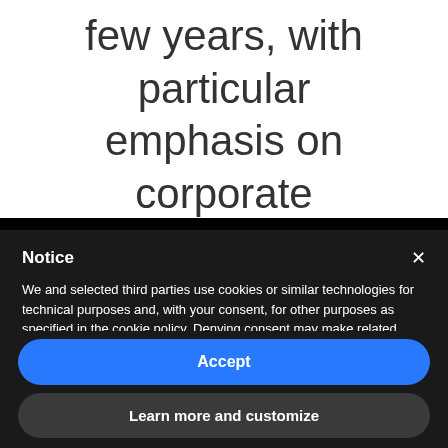few years, with particular emphasis on corporate
Notice
We and selected third parties use cookies or similar technologies for technical purposes and, with your consent, for other purposes as specified in the cookie policy. Denying consent may make related features unavailable.
You can consent to the use of such technologies by using the "Accept" button, by closing this notice, by scrolling this page, by interacting with any link or button outside of this notice or by continuing to browse otherwise.
Accept
Learn more and customize